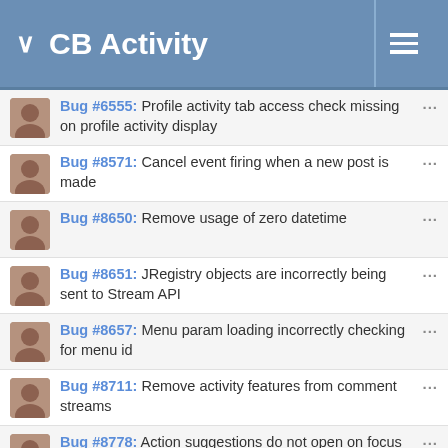CB Activity
Bug #6555: Profile activity tab access check missing on profile activity display
Bug #8571: Cancel event firing when a new post is made
Bug #8650: Remove usage of zero datetime
Bug #8651: JRegistry objects are incorrectly being sent to Stream API
Bug #8657: Menu param loading incorrectly checking for menu id
Bug #8711: Remove activity features from comment streams
Bug #8778: Action suggestions do not open on focus
Feature proposal #6348: Implement polls
Feature proposal #6429: Implement sponsored posts
Feature proposal #6473: Implement support for public commenting
Feature proposal #6526: implement share button
Feature proposal #6531: Implement post approval support
Feature proposal #6580: Implement core activity access checks
Feature proposal #6360: Implement activity and...